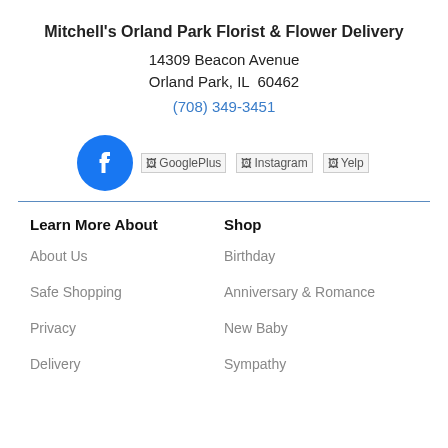Mitchell's Orland Park Florist & Flower Delivery
14309 Beacon Avenue
Orland Park, IL  60462
(708) 349-3451
[Figure (logo): Social media icons: Facebook (blue circle with f), GooglePlus (broken image), Instagram (broken image), Yelp (broken image)]
Learn More About
Shop
About Us
Birthday
Safe Shopping
Anniversary & Romance
Privacy
New Baby
Delivery
Sympathy